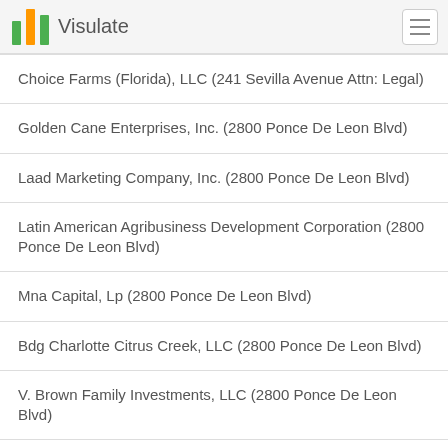Visulate
Choice Farms (Florida), LLC (241 Sevilla Avenue Attn: Legal)
Golden Cane Enterprises, Inc. (2800 Ponce De Leon Blvd)
Laad Marketing Company, Inc. (2800 Ponce De Leon Blvd)
Latin American Agribusiness Development Corporation (2800 Ponce De Leon Blvd)
Mna Capital, Lp (2800 Ponce De Leon Blvd)
Bdg Charlotte Citrus Creek, LLC (2800 Ponce De Leon Blvd)
V. Brown Family Investments, LLC (2800 Ponce De Leon Blvd)
D. Brown Family Investments, LLC (2800 Ponce De Leon Blvd)
Pinecrest Enterprises LLC (2800 Ponce De Leon Blvd)